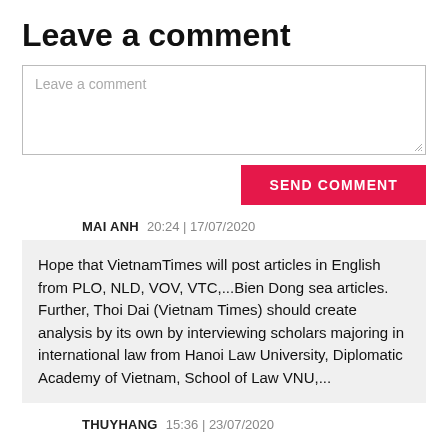Leave a comment
Leave a comment (placeholder in text area)
SEND COMMENT
MAI ANH  20:24 | 17/07/2020
Hope that VietnamTimes will post articles in English from PLO, NLD, VOV, VTC,...Bien Dong sea articles. Further, Thoi Dai (Vietnam Times) should create analysis by its own by interviewing scholars majoring in international law from Hanoi Law University, Diplomatic Academy of Vietnam, School of Law VNU,...
THUYHANG  15:36 | 23/07/2020